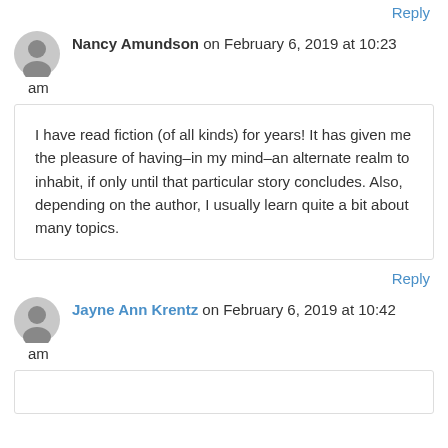Reply
Nancy Amundson on February 6, 2019 at 10:23 am
I have read fiction (of all kinds) for years! It has given me the pleasure of having–in my mind–an alternate realm to inhabit, if only until that particular story concludes. Also, depending on the author, I usually learn quite a bit about many topics.
Reply
Jayne Ann Krentz on February 6, 2019 at 10:42 am